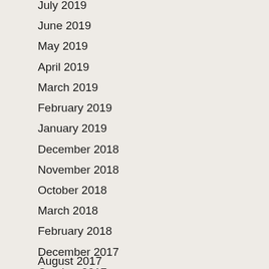July 2019
June 2019
May 2019
April 2019
March 2019
February 2019
January 2019
December 2018
November 2018
October 2018
March 2018
February 2018
December 2017
October 2017
August 2017